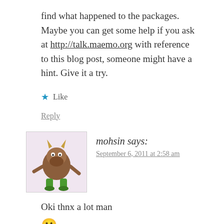find what happened to the packages. Maybe you can get some help if you ask at http://talk.maemo.org with reference to this blog post, someone might have a hint. Give it a try.
★ Like
Reply
mohsin says:
September 6, 2011 at 2:58 am
Oki thnx a lot man
[Figure (illustration): Avatar image of a cartoon monster character (mohsin's profile picture) — brown furry body with green legs/feet and small horns, on a light pink/lavender background.]